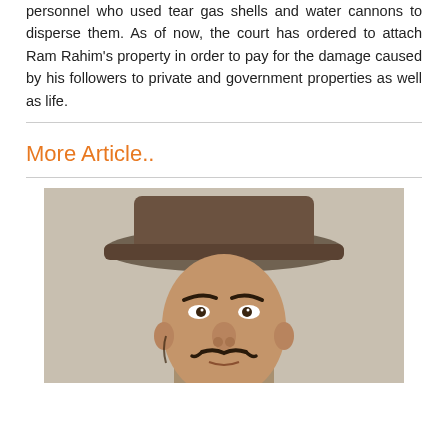personnel who used tear gas shells and water cannons to disperse them. As of now, the court has ordered to attach Ram Rahim's property in order to pay for the damage caused by his followers to private and government properties as well as life.
More Article..
[Figure (photo): Portrait of a young man wearing a wide-brimmed brown hat and a thin mustache, dressed in light-colored clothing, reminiscent of historical Indian revolutionary Bhagat Singh.]